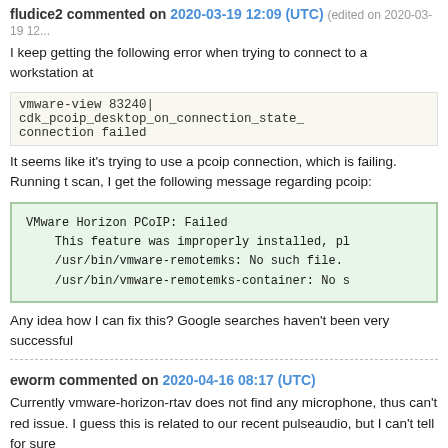fludice2 commented on 2020-03-19 12:09 (UTC) (edited on 2020-03-19 12...
I keep getting the following error when trying to connect to a workstation at
vmware-view 83240| cdk_pcoip_desktop_on_connection_state_
connection failed
It seems like it's trying to use a pcoip connection, which is failing. Running t scan, I get the following message regarding pcoip:
VMware Horizon PCoIP: Failed
    This feature was improperly installed, pl
    /usr/bin/vmware-remotemks: No such file.
    /usr/bin/vmware-remotemks-container: No s
Any idea how I can fix this? Google searches haven't been very successful
eworm commented on 2020-04-16 08:17 (UTC)
Currently vmware-horizon-rtav does not find any microphone, thus can't red issue. I guess this is related to our recent pulseaudio, but I can't tell for sure
I've never heard of Virtualization Pack for Skype for Business. Will have to i spare time.
arialdomartini commented on 2020-04-16 07:20 (UTC) (edited on 2020-04-
arialdomartini)